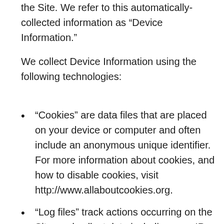the Site. We refer to this automatically-collected information as “Device Information.”
We collect Device Information using the following technologies:
“Cookies” are data files that are placed on your device or computer and often include an anonymous unique identifier. For more information about cookies, and how to disable cookies, visit http://www.allaboutcookies.org.
“Log files” track actions occurring on the Site, and collect data including your IP address, browser type, Internet service